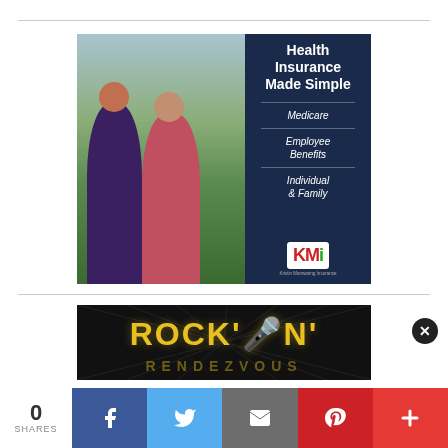[Figure (photo): KMI Health Insurance advertisement. Left side: photo of two smiling women standing outdoors in a garden/nature setting. Right side: dark navy blue panel with text 'Health Insurance Made Simple', services listed as Medicare, Employee Benefits, Individual & Family, and KMi (Kristin Manwaring Insurance) logo.]
[Figure (photo): Rock'n Rendezvous event advertisement with yellow text on black background with radial sunburst pattern.]
0 SHARES